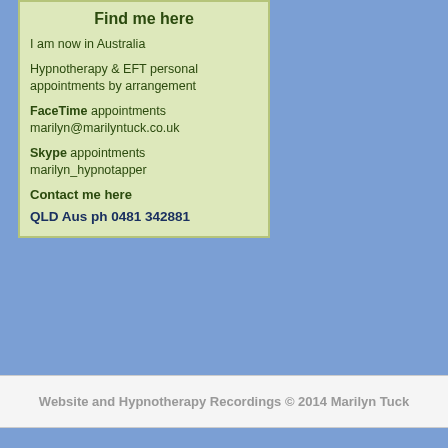Find me here
I am now in Australia
Hypnotherapy & EFT personal appointments by arrangement
FaceTime appointments marilyn@marilyntuck.co.uk
Skype appointments marilyn_hypnotapper
Contact me here
QLD Aus ph 0481 342881
Website and Hypnotherapy Recordings © 2014 Marilyn Tuck